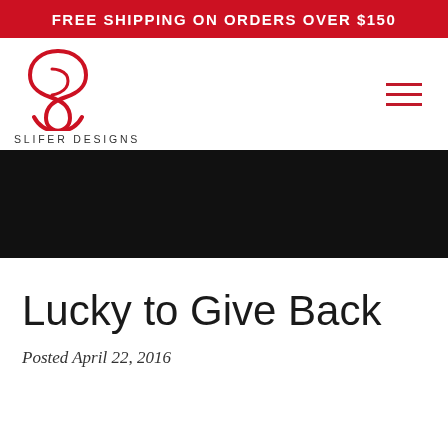FREE SHIPPING ON ORDERS OVER $150
[Figure (logo): Slifer Designs logo: red stylized S letter mark with text SLIFER DESIGNS below]
Lucky to Give Back
Posted April 22, 2016